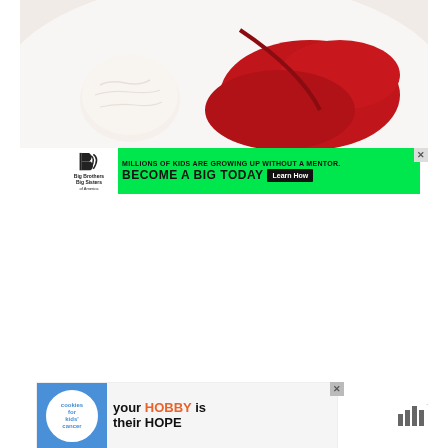[Figure (photo): Close-up photo of a dessert plate with a white scoop of ice cream or mousse on the left and a red berry sauce/coulis spread on the right, on a white plate]
[Figure (infographic): Big Brothers Big Sisters of America advertisement on green background: 'MILLIONS OF KIDS ARE GROWING UP WITHOUT A MENTOR. BECOME A BIG TODAY' with a Learn How button]
[Figure (infographic): Cookies for Kids' Cancer advertisement: 'your HOBBY is their HOPE' with circular logo on blue background]